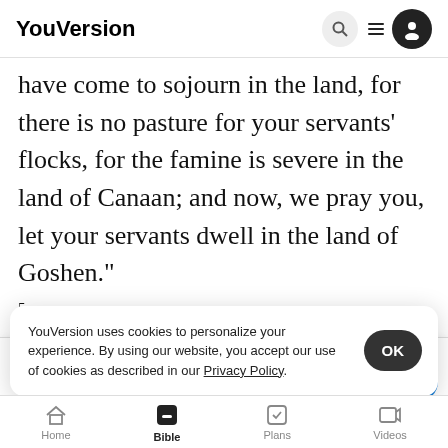YouVersion
have come to sojourn in the land, for there is no pasture for your servants' flocks, for the famine is severe in the land of Canaan; and now, we pray you, let your servants dwell in the land of Goshen."
5 Then Pharaoh said to Joseph, "Your father and
[Figure (screenshot): App download banner for The Bible App with red icon, 5 stars, 7.9M ratings, and Download button]
is before you; settle your father and ye
brother
the land
YouVersion uses cookies to personalize your experience. By using our website, you accept our use of cookies as described in our Privacy Policy.
Home  Bible  Plans  Videos